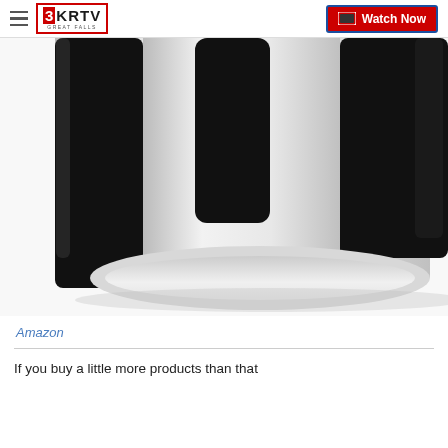3KRTV GREAT FALLS | Watch Now
[Figure (photo): Close-up photo of a black and silver device, likely an Amazon product such as a Kindle or Fire Stick, showing a curved edge with black glossy borders on a white background.]
Amazon
If you buy a little more products than that